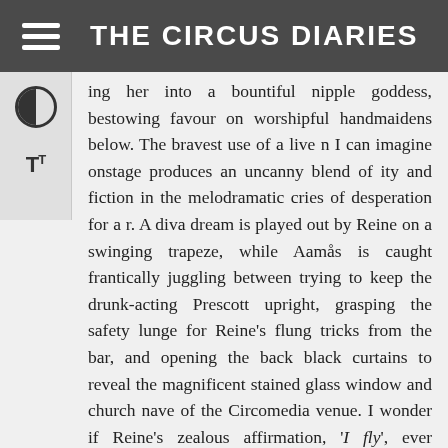THE CIRCUS DIARIES
ing her into a bountiful nipple goddess, bestowing favour on worshipful handmaidens below. The bravest use of a live n I can imagine onstage produces an uncanny blend of ity and fiction in the melodramatic cries of desperation for a r. A diva dream is played out by Reine on a swinging trapeze, while Aamås is caught frantically juggling between trying to keep the drunk-acting Prescott upright, grasping the safety lunge for Reine's flung tricks from the bar, and opening the back black curtains to reveal the magnificent stained glass window and church nave of the Circomedia venue. I wonder if Reine's zealous affirmation, 'I fly', ever sounded more apt.
Double ended breast puppets become poi, and telephones, and strangulation devices, dancing partners, and boobs that will never quite hang equal. And the show ends. Seemingly in the middle of nowhere. Or, more accurately, in the midst of everything. Which is, looking back, where we began. Where we are right now.